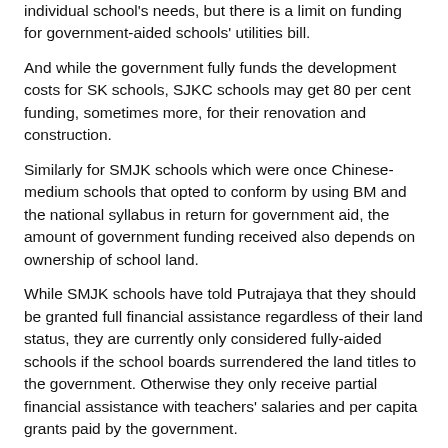individual school's needs, but there is a limit on funding for government-aided schools' utilities bill.
And while the government fully funds the development costs for SK schools, SJKC schools may get 80 per cent funding, sometimes more, for their renovation and construction.
Similarly for SMJK schools which were once Chinese-medium schools that opted to conform by using BM and the national syllabus in return for government aid, the amount of government funding received also depends on ownership of school land.
While SMJK schools have told Putrajaya that they should be granted full financial assistance regardless of their land status, they are currently only considered fully-aided schools if the school boards surrendered the land titles to the government. Otherwise they only receive partial financial assistance with teachers' salaries and per capita grants paid by the government.
Syllabus and examinations